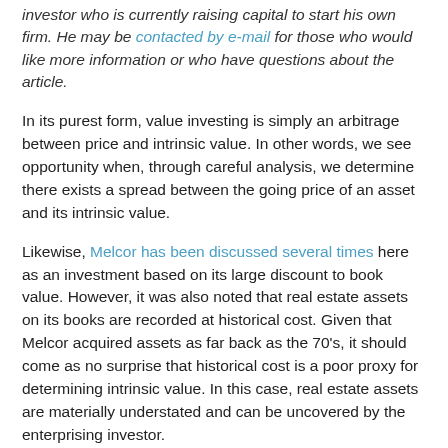investor who is currently raising capital to start his own firm. He may be contacted by e-mail for those who would like more information or who have questions about the article.
In its purest form, value investing is simply an arbitrage between price and intrinsic value. In other words, we see opportunity when, through careful analysis, we determine there exists a spread between the going price of an asset and its intrinsic value.
Likewise, Melcor has been discussed several times here as an investment based on its large discount to book value. However, it was also noted that real estate assets on its books are recorded at historical cost. Given that Melcor acquired assets as far back as the 70's, it should come as no surprise that historical cost is a poor proxy for determining intrinsic value. In this case, real estate assets are materially understated and can be uncovered by the enterprising investor.
So how can we determine the market value of these assets if management does not tell us outright? Management is